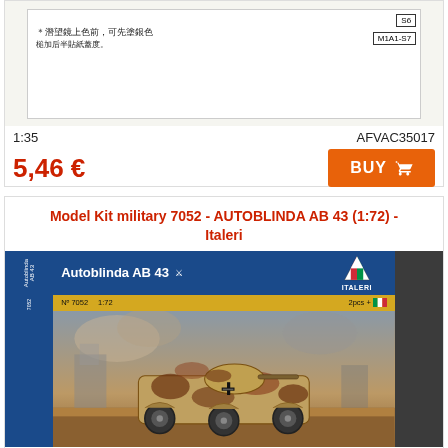[Figure (photo): Cropped top portion of a model kit instruction sheet showing Chinese text and reference labels S6 and M1A1-S7, with a blue translucent overlay block at the bottom]
1:35
AFVAC35017
5,46 €
BUY
Model Kit military 7052 - AUTOBLINDA AB 43 (1:72) - Italeri
[Figure (photo): Product photo of Italeri model kit box #7052 for Autoblinda AB 43 at 1:72 scale, showing the box art with an armored wheeled vehicle in camouflage pattern on a wartime battlefield background, with the Italeri logo (green/red/white arrow triangle) on the right]